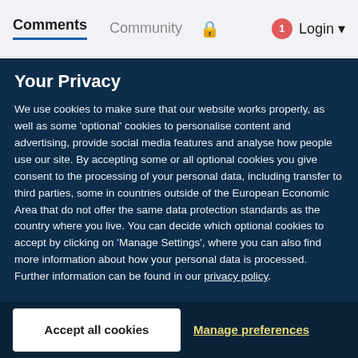Comments  Community  🔒  1  Login
Your Privacy
We use cookies to make sure that our website works properly, as well as some 'optional' cookies to personalise content and advertising, provide social media features and analyse how people use our site. By accepting some or all optional cookies you give consent to the processing of your personal data, including transfer to third parties, some in countries outside of the European Economic Area that do not offer the same data protection standards as the country where you live. You can decide which optional cookies to accept by clicking on 'Manage Settings', where you can also find more information about how your personal data is processed. Further information can be found in our privacy policy.
Accept all cookies
Manage preferences